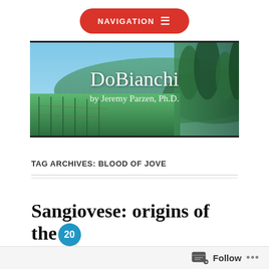NAVIGATION
[Figure (photo): DoBianchi blog banner showing vineyard rows with green hills and trees in background. Text overlay reads 'DoBianchi by Jeremy Parzen, Ph.D.' in cursive white font.]
TAG ARCHIVES: BLOOD OF JOVE
Sangiovese: origins of the